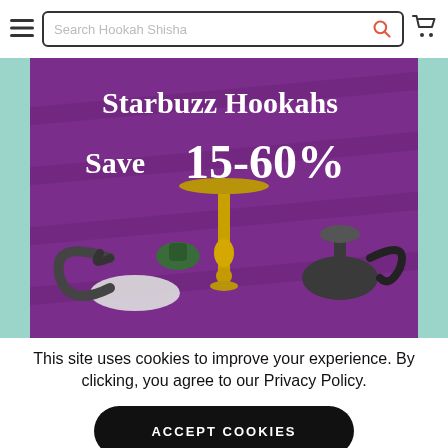[Figure (screenshot): Website header with hamburger menu, search bar labeled 'Search Hookah Shisha', search icon in coral/orange, and cart icon]
[Figure (photo): Promotional banner on purple background showing Starbuzz Hookahs with text 'Starbuzz Hookahs Save 15-60%' and hookah product images]
This site uses cookies to improve your experience. By clicking, you agree to our Privacy Policy.
ACCEPT COOKIES